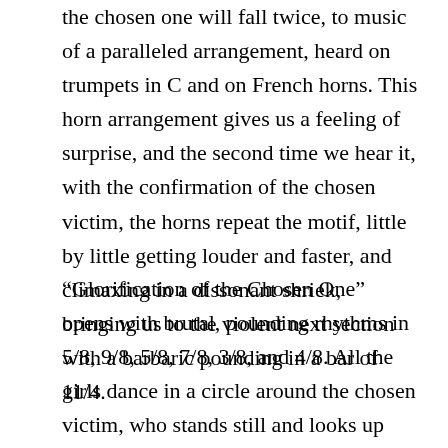the chosen one will fall twice, to music of a paralleled arrangement, heard on trumpets in C and on French horns. This horn arrangement gives us a feeling of surprise, and the second time we hear it, with the confirmation of the chosen victim, the horns repeat the motif, little by little getting louder and faster, and climaxing in a dissonant shriek, bringing us to the violent next section with a barbaric pounding in a bar of 11/4.
“Glorification of the Chosen One” opens with brutal, pounding rhythms in 5/8, 9/8, 5/8, 7/8, 3/8, and 4/8. All the girls dance in a circle around the chosen victim, who stands still and looks up with a frozen gaze, accepting her fate and repressing her fear, for even the slightest flinching on her part may displease the gods and